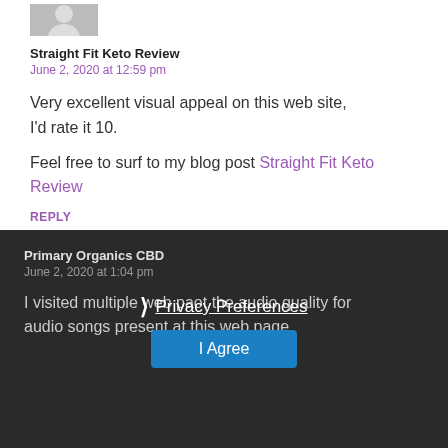[Figure (illustration): Gray avatar silhouette placeholder image]
Straight Fit Keto Review
June 2, 2020 at 12:59 pm
Very excellent visual appeal on this web site, I'd rate it 10.
Feel free to surf to my blog post Straight Fit Keto Review
REPLY
[Figure (illustration): Gray avatar silhouette placeholder image for second comment]
Primary Organics CBD
June 2, 2020 at 1:04 pm
I visited multiple web pages but the audio quality for audio songs present at this web page
Privacy Preferences
I Agree